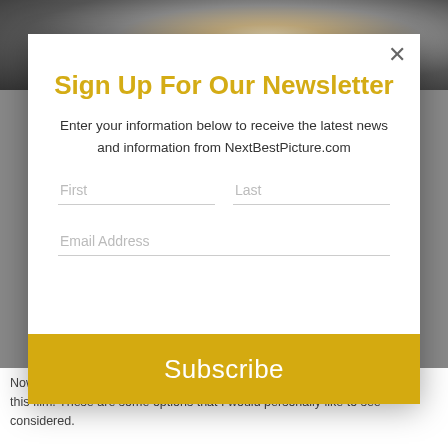[Figure (photo): Dark cinematic background photo showing a man's profile with fire/light bokeh in the background]
Sign Up For Our Newsletter
Enter your information below to receive the latest news and information from NextBestPicture.com
First
Last
Email Address
Subscribe
Now the wild speculation begins as to who could possibly take the reins of this film. These are some options that I would personally like to see considered.